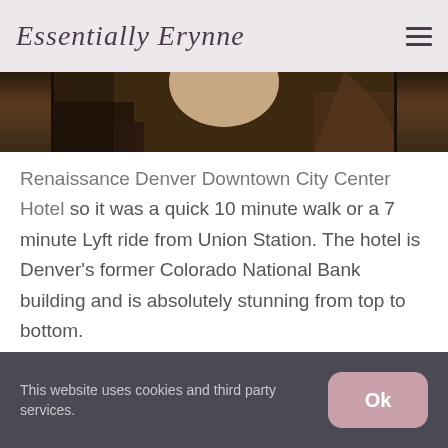Essentially Erynne
[Figure (photo): Partial view of a hotel interior or decor photo, showing dark furniture and textures, cropped at the top of the content area.]
Renaissance Denver Downtown City Center Hotel so it was a quick 10 minute walk or a 7 minute Lyft ride from Union Station. The hotel is Denver's former Colorado National Bank building and is absolutely stunning from top to bottom.
The decor is banking inspired with a modern
This website uses cookies and third party services.